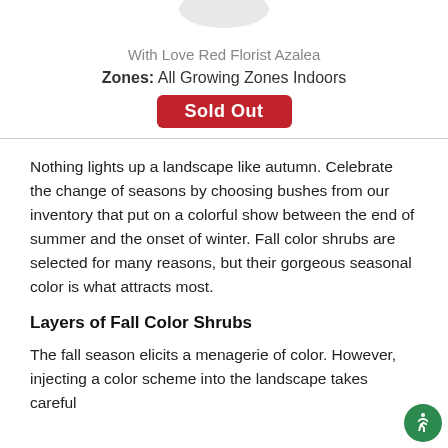[Figure (photo): Partial view of a white/light grey circular plant image cropped at top]
With Love Red Florist Azalea
Zones: All Growing Zones Indoors
Sold Out
Nothing lights up a landscape like autumn. Celebrate the change of seasons by choosing bushes from our inventory that put on a colorful show between the end of summer and the onset of winter. Fall color shrubs are selected for many reasons, but their gorgeous seasonal color is what attracts most.
Layers of Fall Color Shrubs
The fall season elicits a menagerie of color. However, injecting a color scheme into the landscape takes careful